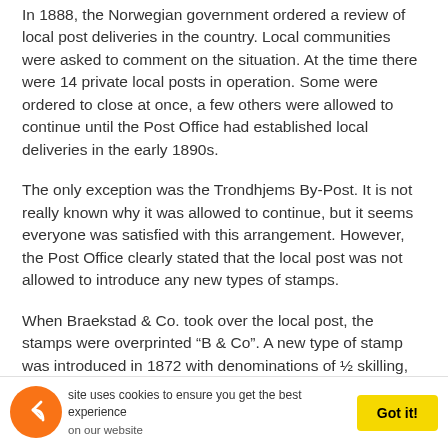In 1888, the Norwegian government ordered a review of local post deliveries in the country. Local communities were asked to comment on the situation. At the time there were 14 private local posts in operation. Some were ordered to close at once, a few others were allowed to continue until the Post Office had established local deliveries in the early 1890s.
The only exception was the Trondhjems By-Post. It is not really known why it was allowed to continue, but it seems everyone was satisfied with this arrangement. However, the Post Office clearly stated that the local post was not allowed to introduce any new types of stamps.
When Braekstad & Co. took over the local post, the stamps were overprinted “B & Co”. A new type of stamp was introduced in 1872 with denominations of ½ skilling, 1s and 2s. Later there were a number of surcharges.
In 1877, Norway changed the currency unit from skilling
This site uses cookies to ensure you get the best experience on our website   Got it!